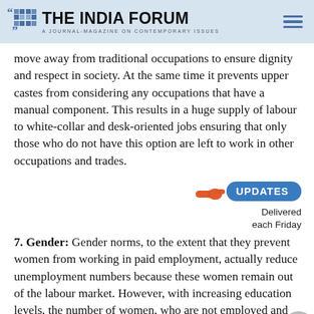THE INDIA FORUM — A JOURNAL-MAGAZINE ON CONTEMPORARY ISSUES
move away from traditional occupations to ensure dignity and respect in society. At the same time it prevents upper castes from considering any occupations that have a manual component. This results in a huge supply of labour to white-collar and desk-oriented jobs ensuring that only those who do not have this option are left to work in other occupations and trades.
[Figure (infographic): UPDATES Delivered each Friday banner with pointing hand graphic]
7. Gender: Gender norms, to the extent that they prevent women from working in paid employment, actually reduce unemployment numbers because these women remain out of the labour market. However, with increasing education levels, the number of women, who are not employed and not